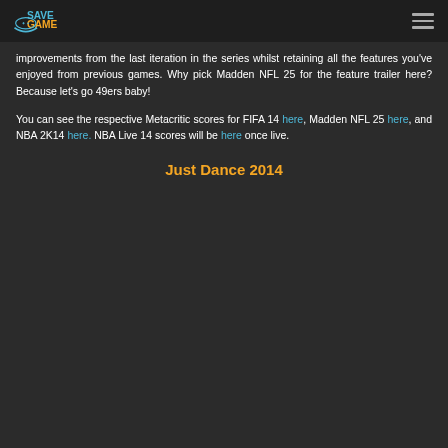SaveGame logo and navigation
improvements from the last iteration in the series whilst retaining all the features you've enjoyed from previous games. Why pick Madden NFL 25 for the feature trailer here? Because let's go 49ers baby!
You can see the respective Metacritic scores for FIFA 14 here, Madden NFL 25 here, and NBA 2K14 here. NBA Live 14 scores will be here once live.
Just Dance 2014